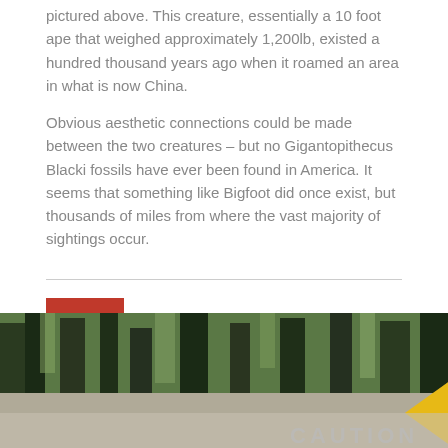pictured above. This creature, essentially a 10 foot ape that weighed approximately 1,200lb, existed a hundred thousand years ago when it roamed an area in what is now China.
Obvious aesthetic connections could be made between the two creatures – but no Gigantopithecus Blacki fossils have ever been found in America. It seems that something like Bigfoot did once exist, but thousands of miles from where the vast majority of sightings occur.
6 Successful Breeding Is Unlikely
[Figure (photo): A photo showing forest trees with a yellow caution warning sign visible in the lower portion of the image.]